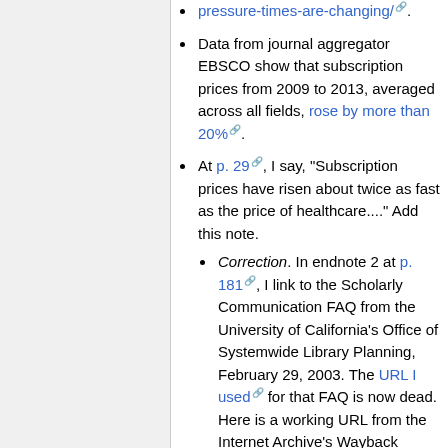Data from journal aggregator EBSCO show that subscription prices from 2009 to 2013, averaged across all fields, rose by more than 20%.
At p. 29, I say, "Subscription prices have risen about twice as fast as the price of healthcare...." Add this note.
Correction. In endnote 2 at p. 181, I link to the Scholarly Communication FAQ from the University of California's Office of Systemwide Library Planning, February 29, 2003. The URL I used for that FAQ is now dead. Here is a working URL from the Internet Archive's Wayback Machine, http://web.archive.org/web/20070630...